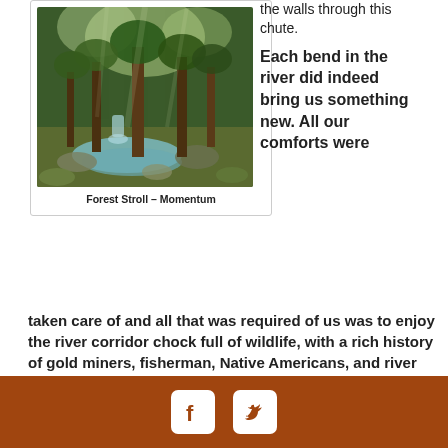[Figure (photo): A forest scene with a stream, green mossy rocks, tall trees with sunlight filtering through, and a small waterfall in the background.]
Forest Stroll – Momentum
the walls through this chute.
Each bend in the river did indeed bring us something new. All our comforts were taken care of and all that was required of us was to enjoy the river corridor chock full of wildlife, with a rich history of gold miners, fisherman, Native Americans, and river rats of all stripes.
[Figure (infographic): Footer bar with Facebook and Twitter social media icons on a brown/terracotta background.]